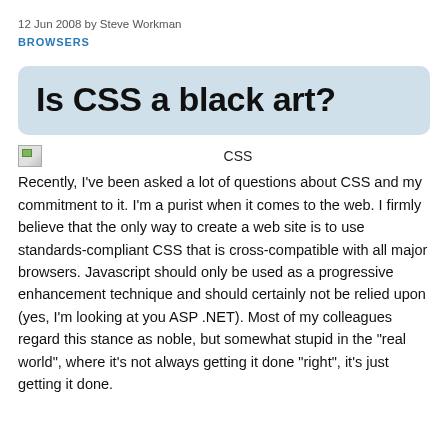12 Jun 2008 by Steve Workman
BROWSERS
Is CSS a black art?
CSS
Recently, I've been asked a lot of questions about CSS and my commitment to it. I'm a purist when it comes to the web. I firmly believe that the only way to create a web site is to use standards-compliant CSS that is cross-compatible with all major browsers. Javascript should only be used as a progressive enhancement technique and should certainly not be relied upon (yes, I'm looking at you ASP .NET). Most of my colleagues regard this stance as noble, but somewhat stupid in the "real world", where it's not always getting it done "right", it's just getting it done.